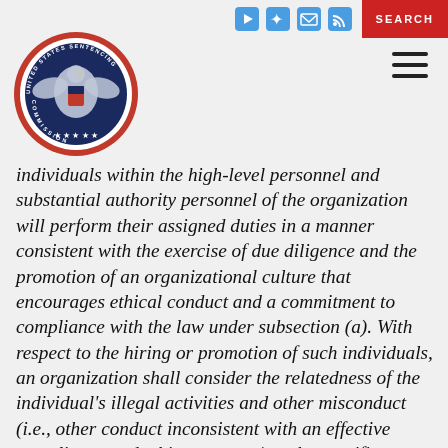[Figure (logo): United States Sentencing Commission circular seal/logo with eagle emblem]
individuals within the high-level personnel and substantial authority personnel of the organization will perform their assigned duties in a manner consistent with the exercise of due diligence and the promotion of an organizational culture that encourages ethical conduct and a commitment to compliance with the law under subsection (a). With respect to the hiring or promotion of such individuals, an organization shall consider the relatedness of the individual's illegal activities and other misconduct (i.e., other conduct inconsistent with an effective compliance and ethics program) to the specific responsibilities the individual is anticipated to be assigned and other factors